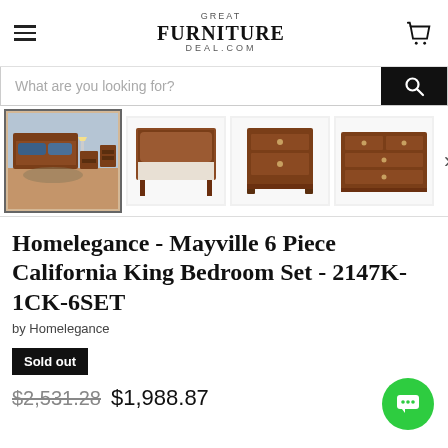Great Furniture Deal.com
What are you looking for?
[Figure (photo): Product thumbnail strip showing bedroom set images: full bedroom set (selected), bed frame, nightstand, dresser]
Homelegance - Mayville 6 Piece California King Bedroom Set - 2147K-1CK-6SET
by Homelegance
Sold out
$2,531.28  $1,988.87